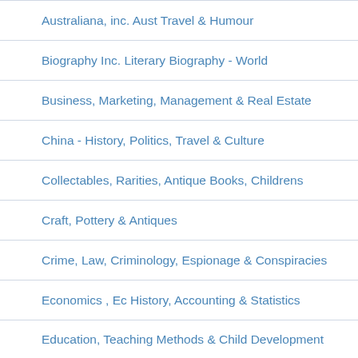Australiana, inc. Aust Travel & Humour
Biography Inc. Literary Biography - World
Business, Marketing, Management & Real Estate
China - History, Politics, Travel & Culture
Collectables, Rarities, Antique Books, Childrens
Craft, Pottery & Antiques
Crime, Law, Criminology, Espionage & Conspiracies
Economics , Ec History, Accounting & Statistics
Education, Teaching Methods & Child Development